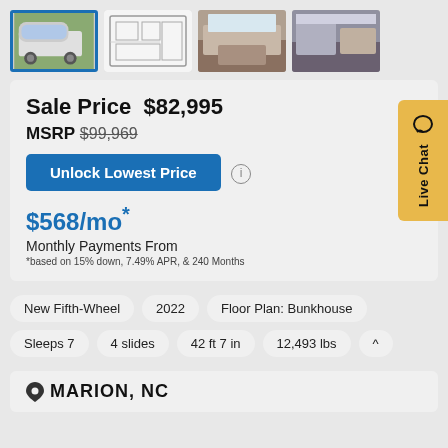[Figure (photo): Four thumbnail images of an RV fifth-wheel: exterior shot (selected/highlighted), floor plan diagram, interior living area, interior kitchen/living area]
Sale Price  $82,995
MSRP  $99,969
Unlock Lowest Price
$568/mo*
Monthly Payments From
*based on 15% down, 7.49% APR, & 240 Months
New Fifth-Wheel
2022
Floor Plan: Bunkhouse
Sleeps 7
4 slides
42 ft 7 in
12,493 lbs
MARION, NC